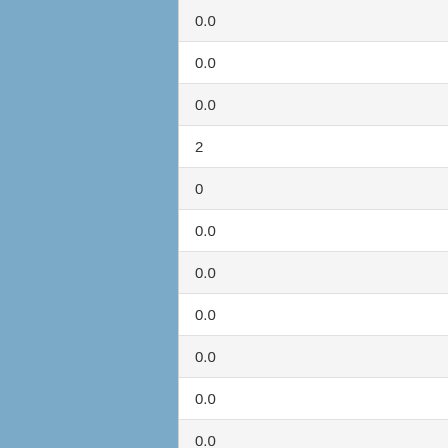| 0.0 |
| 0.0 |
| 0.0 |
| 2 |
| 0 |
| 0.0 |
| 0.0 |
| 0.0 |
| 0.0 |
| 0.0 |
| 0.0 |
| 3 |
| 2168 |